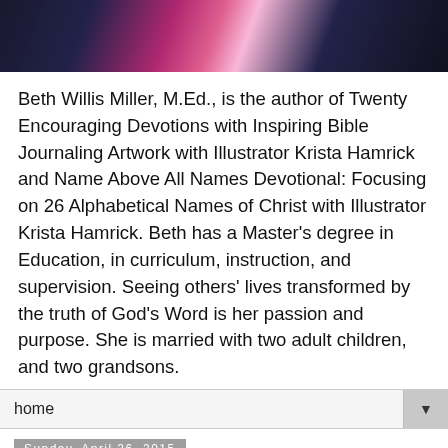[Figure (photo): Photo of a person wearing a floral/patterned dark fabric with pink and white design, cropped to show top portion only]
Beth Willis Miller, M.Ed., is the author of Twenty Encouraging Devotions with Inspiring Bible Journaling Artwork with Illustrator Krista Hamrick and Name Above All Names Devotional: Focusing on 26 Alphabetical Names of Christ with Illustrator Krista Hamrick. Beth has a Master's degree in Education, in curriculum, instruction, and supervision. Seeing others' lives transformed by the truth of God's Word is her passion and purpose. She is married with two adult children, and two grandsons.
home
Sunday, April 26, 2015
accepted in the Beloved...
[Figure (photo): Photo with blue sky background showing text 'Accepted' in large white bold letters with bare reed/plant silhouettes]